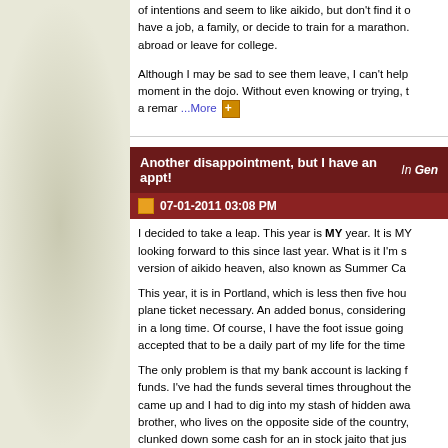of intentions and seem to like aikido, but don't find it o... have a job, a family, or decide to train for a marathon. abroad or leave for college.
Although I may be sad to see them leave, I can't help... moment in the dojo. Without even knowing or trying, t... a remar ...More
Another disappointment, but I have an appt!
In Gene
07-01-2011 03:08 PM
I decided to take a leap. This year is MY year. It is MY... looking forward to this since last year. What is it I'm s... version of aikido heaven, also known as Summer Ca...
This year, it is in Portland, which is less then five hou... plane ticket necessary. An added bonus, considering... in a long time. Of course, I have the foot issue going... accepted that to be a daily part of my life for the time...
The only problem is that my bank account is lacking f... funds. I've had the funds several times throughout the... came up and I had to dig into my stash of hidden awa... brother, who lives on the opposite side of the country,... clunked down some cash for an in stock jaito that jus...